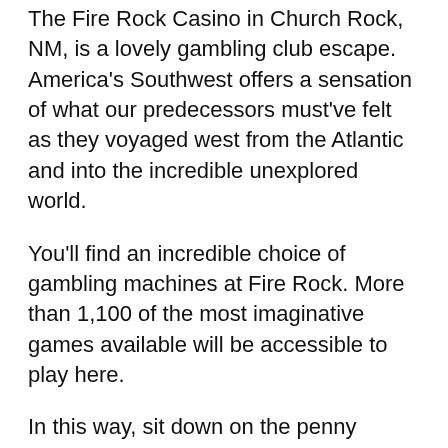The Fire Rock Casino in Church Rock, NM, is a lovely gambling club escape. America's Southwest offers a sensation of what our predecessors must've felt as they voyaged west from the Atlantic and into the incredible unexplored world.
You'll find an incredible choice of gambling machines at Fire Rock. More than 1,100 of the most imaginative games available will be accessible to play here.
In this way, sit down on the penny machines or break out one more thousand and play for $25 per turn. One way or the other, you're in for a fabulous encounter.
The club likewise offers a full cluster of table